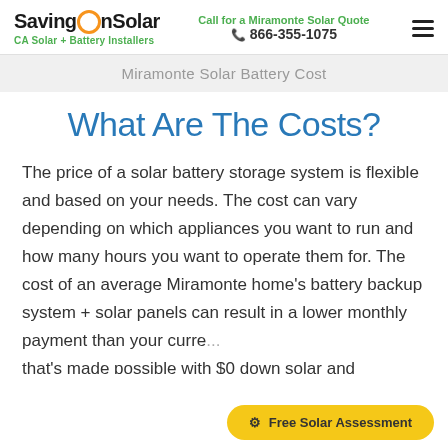SavingOnSolar | CA Solar + Battery Installers | Call for a Miramonte Solar Quote | 866-355-1075
Miramonte Solar Battery Cost
What Are The Costs?
The price of a solar battery storage system is flexible and based on your needs. The cost can vary depending on which appliances you want to run and how many hours you want to operate them for. The cost of an average Miramonte home's battery backup system + solar panels can result in a lower monthly payment than your curre... that's made possible with $0 down solar and